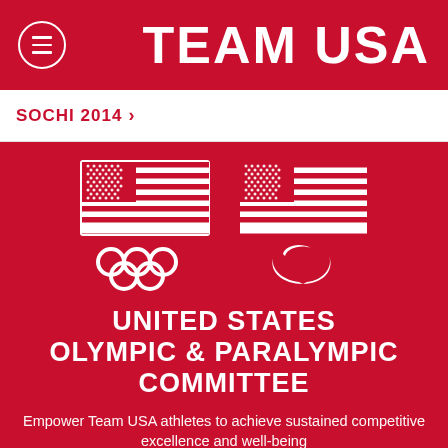TEAM USA
SOCHI 2014 >
[Figure (logo): United States Olympic and Paralympic Committee logos: two American flags above the Olympic rings and Paralympic agitos symbol]
UNITED STATES OLYMPIC & PARALYMPIC COMMITTEE
Empower Team USA athletes to achieve sustained competitive excellence and well-being